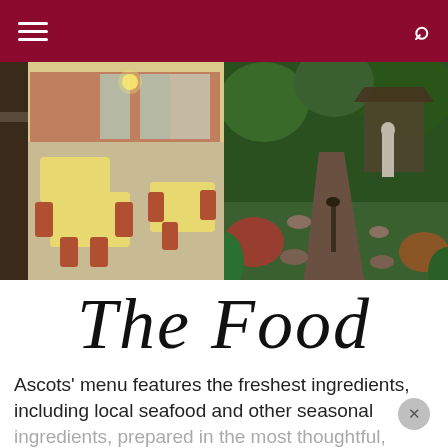Navigation bar with hamburger menu and search icon
[Figure (photo): Two side-by-side restaurant photos: left shows a dining room interior with tables and chairs; right shows a lush garden pathway with a statue and tropical plants.]
The Food
Ascots' menu features the freshest ingredients, including local seafood and other seasonal ingredients, prepared in the most thoughtful, creative ways. Their cuisine can best be classified as Progressive Continental Mediterranean and many o